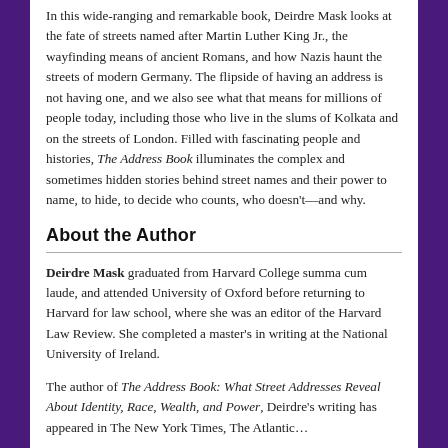In this wide-ranging and remarkable book, Deirdre Mask looks at the fate of streets named after Martin Luther King Jr., the wayfinding means of ancient Romans, and how Nazis haunt the streets of modern Germany. The flipside of having an address is not having one, and we also see what that means for millions of people today, including those who live in the slums of Kolkata and on the streets of London. Filled with fascinating people and histories, The Address Book illuminates the complex and sometimes hidden stories behind street names and their power to name, to hide, to decide who counts, who doesn't—and why.
About the Author
Deirdre Mask graduated from Harvard College summa cum laude, and attended University of Oxford before returning to Harvard for law school, where she was an editor of the Harvard Law Review. She completed a master's in writing at the National University of Ireland.
The author of The Address Book: What Street Addresses Reveal About Identity, Race, Wealth, and Power, Deirdre's writing has appeared in The New York Times, The Atlantic...